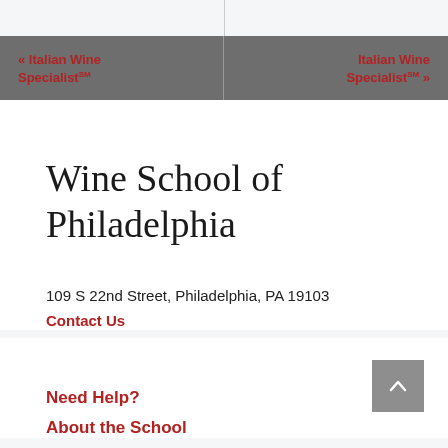« Italian Wine Specialist℠
Italian Wine Specialist℠ »
Wine School of Philadelphia
109 S 22nd Street, Philadelphia, PA 19103
Contact Us
Need Help?
About the School